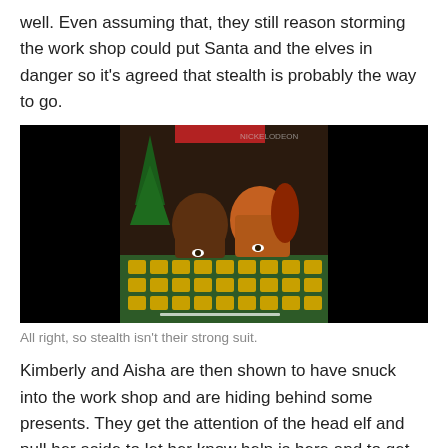well. Even assuming that, they still reason storming the work shop could put Santa and the elves in danger so it's agreed that stealth is probably the way to go.
[Figure (photo): Two young women peeking over a large wrapped Christmas present in a holiday-decorated room with Christmas trees and red ribbons in the background. A small watermark is visible in the upper area of the image.]
All right, so stealth isn't their strong suit.
Kimberly and Aisha are then shown to have snuck into the work shop and are hiding behind some presents. They get the attention of the head elf and pull her aside to let her know help is here and to get the lowdown on the